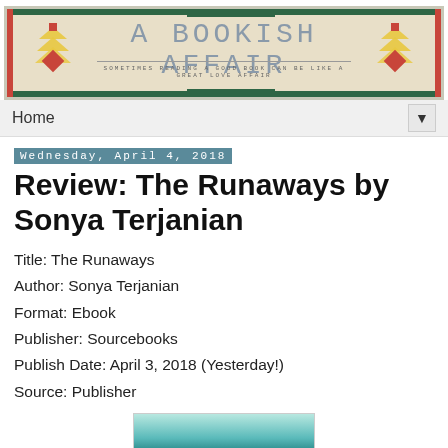[Figure (logo): A Bookish Affair blog banner with decorative Native American-style chevron patterns on left and right, green and red borders, title 'A BOOKISH AFFAIR' in monospace font, subtitle 'SOMETIMES READING A GOOD BOOK CAN BE LIKE A GREAT LOVE AFFAIR']
Home ▼
Wednesday, April 4, 2018
Review: The Runaways by Sonya Terjanian
Title: The Runaways
Author: Sonya Terjanian
Format: Ebook
Publisher: Sourcebooks
Publish Date: April 3, 2018 (Yesterday!)
Source: Publisher
[Figure (photo): Partial book cover image for The Runaways, showing teal/blue-green tones at bottom of page]